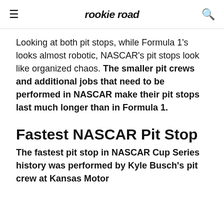rookie road
Looking at both pit stops, while Formula 1's looks almost robotic, NASCAR's pit stops look like organized chaos. The smaller pit crews and additional jobs that need to be performed in NASCAR make their pit stops last much longer than in Formula 1.
Fastest NASCAR Pit Stop
The fastest pit stop in NASCAR Cup Series history was performed by Kyle Busch's pit crew at Kansas Motor